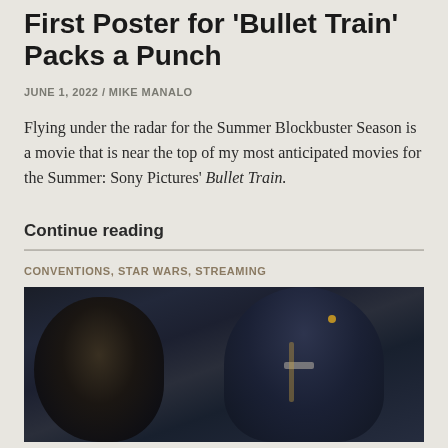First Poster for 'Bullet Train' Packs a Punch
JUNE 1, 2022 / MIKE MANALO
Flying under the radar for the Summer Blockbuster Season is a movie that is near the top of my most anticipated movies for the Summer: Sony Pictures' Bullet Train.
Continue reading
CONVENTIONS, STAR WARS, STREAMING
[Figure (photo): Dark cinematic image showing shadowed figures, likely a movie still or promotional photo with dark blue/navy tones and minimal ambient lighting]